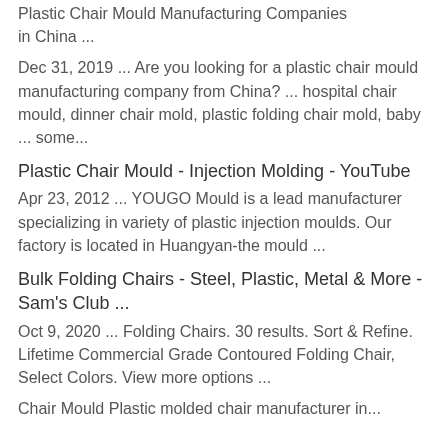Plastic Chair Mould Manufacturing Companies in China ...
Dec 31, 2019 ... Are you looking for a plastic chair mould manufacturing company from China? ... hospital chair mould, dinner chair mold, plastic folding chair mold, baby ... some...
Plastic Chair Mould - Injection Molding - YouTube
Apr 23, 2012 ... YOUGO Mould is a lead manufacturer specializing in variety of plastic injection moulds. Our factory is located in Huangyan-the mould ...
Bulk Folding Chairs - Steel, Plastic, Metal & More - Sam's Club ...
Oct 9, 2020 ... Folding Chairs. 30 results. Sort & Refine. Lifetime Commercial Grade Contoured Folding Chair, Select Colors. View more options ...
Chair Mould Plastic molded chair manufacturer in...